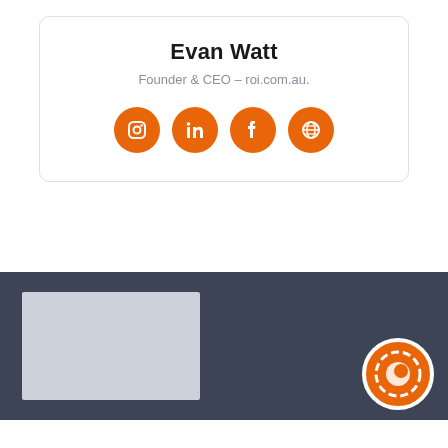Evan Watt
Founder & CEO – roi.com.au.
[Figure (illustration): Four orange circular social media icons: Instagram, LinkedIn, Facebook, and a globe/web icon]
[Figure (illustration): Footer section with dark blue-grey background, a light grey image placeholder rectangle on the left, and an orange circular ROI logo on the bottom right]